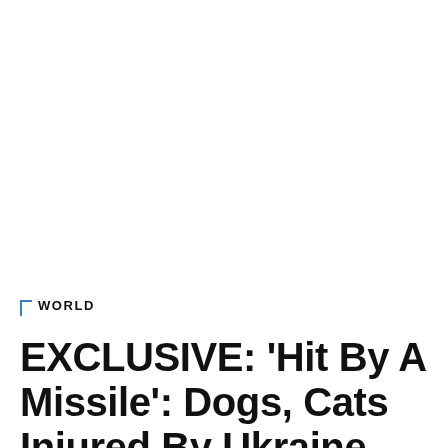WORLD
EXCLUSIVE: ‘Hit By A Missile’: Dogs, Cats Injured By Ukraine War Get Aid At Border